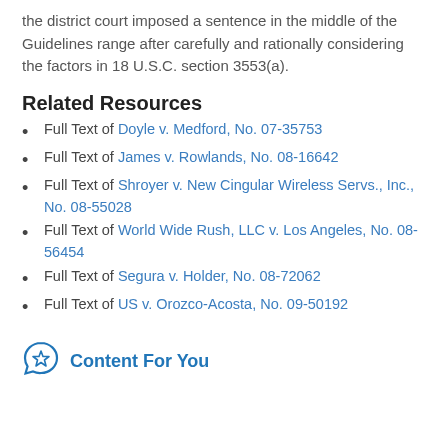the district court imposed a sentence in the middle of the Guidelines range after carefully and rationally considering the factors in 18 U.S.C. section 3553(a).
Related Resources
Full Text of Doyle v. Medford, No. 07-35753
Full Text of James v. Rowlands, No. 08-16642
Full Text of Shroyer v. New Cingular Wireless Servs., Inc., No. 08-55028
Full Text of World Wide Rush, LLC v. Los Angeles, No. 08-56454
Full Text of Segura v. Holder, No. 08-72062
Full Text of US v. Orozco-Acosta, No. 09-50192
Content For You